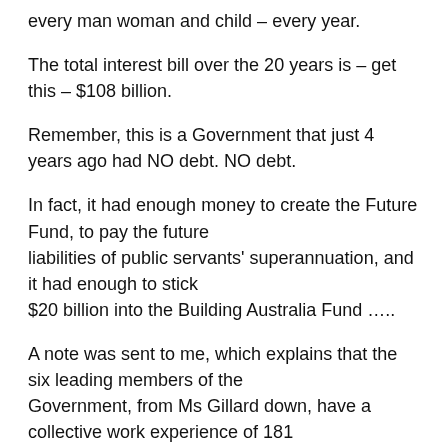every man woman and child – every year.
The total interest bill over the 20 years is – get this – $108 billion.
Remember, this is a Government that just 4 years ago had NO debt. NO debt.
In fact, it had enough money to create the Future Fund, to pay the future liabilities of public servants' superannuation, and it had enough to stick $20 billion into the Building Australia Fund …..
A note was sent to me, which explains that the six leading members of the Government, from Ms Gillard down, have a collective work experience of 181